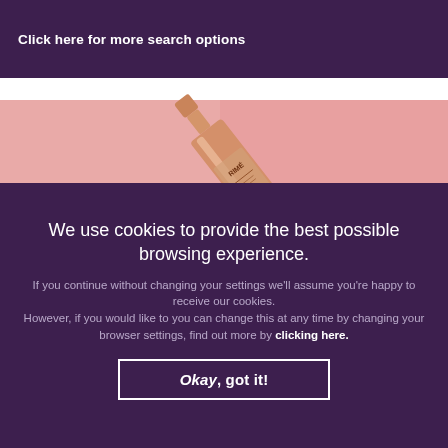Click here for more search options
[Figure (photo): Partial view of a cosmetic/wine bottle with rose gold metallic finish on a pink background, showing text 'RIMÉ' on the label, bottle is tilted diagonally.]
We use cookies to provide the best possible browsing experience.
If you continue without changing your settings we'll assume you're happy to receive our cookies. However, if you would like to you can change this at any time by changing your browser settings, find out more by clicking here.
Okay, got it!